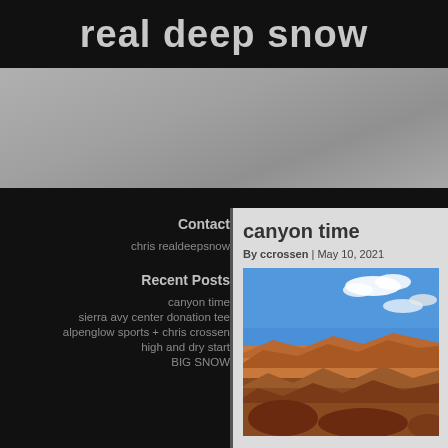real deep snow
[Figure (photo): Gray/silver banner image, likely a snow scene, muted tones]
Contact
chris realdeepsnow
Recent Posts
canyon time
sierra avy center donation tee
alpenglow sports + chris crossen
high and dry start
BIG SNOW
canyon time
By ccrossen | May 10, 2021
[Figure (photo): Canyon landscape photo with blue sky and red rock formations]